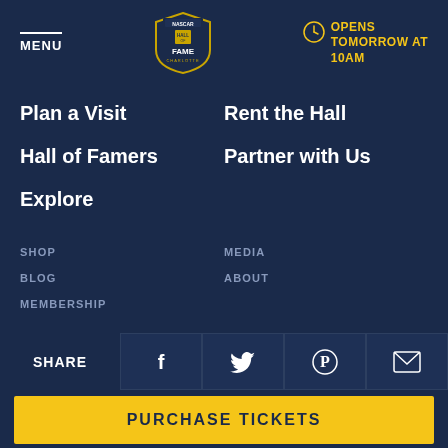MENU
[Figure (logo): NASCAR Hall of Fame Charlotte logo, shield shape with text]
OPENS TOMORROW AT 10AM
Plan a Visit
Rent the Hall
Hall of Famers
Partner with Us
Explore
SHOP
MEDIA
BLOG
ABOUT
MEMBERSHIP
SCRAPBOOK LOGIN
CHARITABLE CONTRIBUTION
CONTACT
GIFT CARDS
SHARE
PURCHASE TICKETS